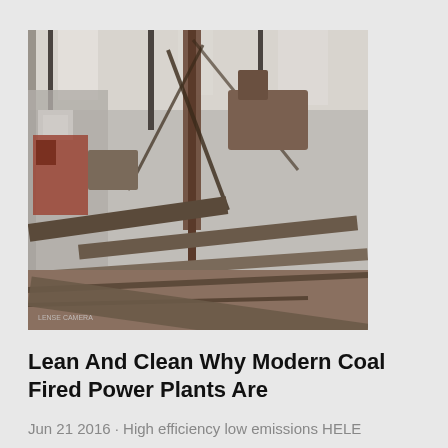[Figure (photo): Industrial coal processing facility interior showing conveyor belts, steel structure framework, and processing machinery inside a large warehouse building]
Lean And Clean Why Modern Coal Fired Power Plants Are
Jun 21 2016 · High efficiency low emissions HELE solutions are proven to reduce both emissions and fuel costs by maximising the amount of power from the steam produced